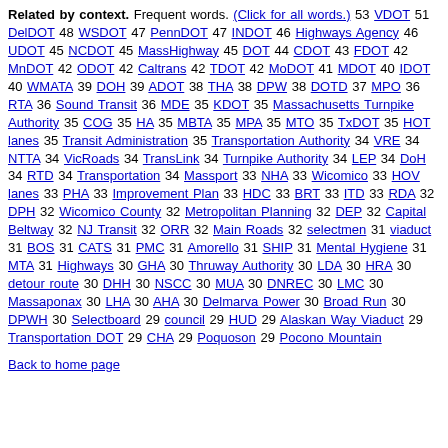Related by context. Frequent words. (Click for all words.) 53 VDOT 51 DelDOT 48 WSDOT 47 PennDOT 47 INDOT 46 Highways Agency 46 UDOT 45 NCDOT 45 MassHighway 45 DOT 44 CDOT 43 FDOT 42 MnDOT 42 ODOT 42 Caltrans 42 TDOT 42 MoDOT 41 MDOT 40 IDOT 40 WMATA 39 DOH 39 ADOT 38 THA 38 DPW 38 DOTD 37 MPO 36 RTA 36 Sound Transit 36 MDE 35 KDOT 35 Massachusetts Turnpike Authority 35 COG 35 HA 35 MBTA 35 MPA 35 MTO 35 TxDOT 35 HOT lanes 35 Transit Administration 35 Transportation Authority 34 VRE 34 NTTA 34 VicRoads 34 TransLink 34 Turnpike Authority 34 LEP 34 DoH 34 RTD 34 Transportation 34 Massport 33 NHA 33 Wicomico 33 HOV lanes 33 PHA 33 Improvement Plan 33 HDC 33 BRT 33 ITD 33 RDA 32 DPH 32 Wicomico County 32 Metropolitan Planning 32 DEP 32 Capital Beltway 32 NJ Transit 32 ORR 32 Main Roads 32 selectmen 31 viaduct 31 BOS 31 CATS 31 PMC 31 Amorello 31 SHIP 31 Mental Hygiene 31 MTA 31 Highways 30 GHA 30 Thruway Authority 30 LDA 30 HRA 30 detour route 30 DHH 30 NSCC 30 MUA 30 DNREC 30 LMC 30 Massaponax 30 LHA 30 AHA 30 Delmarva Power 30 Broad Run 30 DPWH 30 Selectboard 29 council 29 HUD 29 Alaskan Way Viaduct 29 Transportation DOT 29 CHA 29 Poquoson 29 Pocono Mountain
Back to home page